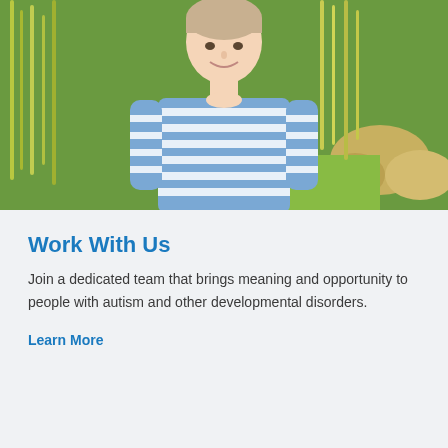[Figure (photo): A young person wearing a blue and white striped shirt, smiling, standing outdoors in front of tall green grasses and some rocks or plants.]
Work With Us
Join a dedicated team that brings meaning and opportunity to people with autism and other developmental disorders.
Learn More